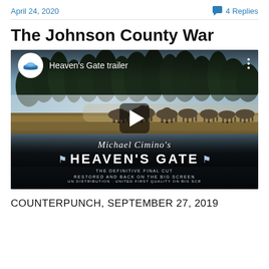April 24, 2020
4 Replies
The Johnson County War
[Figure (screenshot): YouTube video thumbnail for Heaven's Gate trailer by Michael Cimino. Shows horses galloping across a misty wetland landscape with tree line in background. Overlay includes YouTube logo circle, video title 'Heaven's Gate trailer', a play button in the center, and movie title text 'Michael Cimino's HEAVEN'S GATE' with tagline 'THE DEFINITIVE FINAL CUT RESTORED AND BACK ON THE BIG SCREEN'.]
COUNTERPUNCH, SEPTEMBER 27, 2019